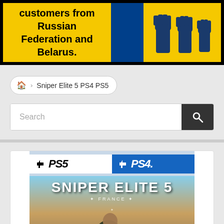[Figure (screenshot): Yellow and blue banner about suspension of customers from Russian Federation and Belarus, with raised fist silhouettes]
customers from Russian Federation and Belarus.
🏠 › Sniper Elite 5 PS4 PS5
Search
[Figure (photo): Sniper Elite 5 PS4/PS5 game cover showing a soldier aiming a sniper rifle with PS5 and PS4 logos at top]